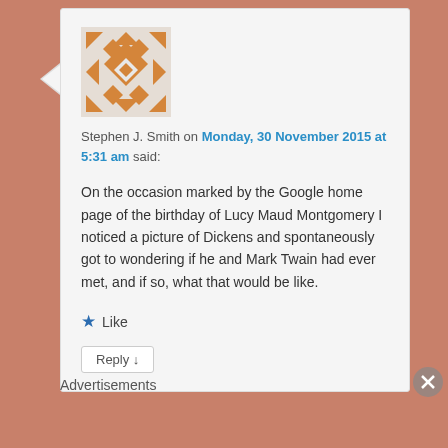[Figure (illustration): Avatar image with geometric diamond/arrow pattern in orange and white]
Stephen J. Smith on Monday, 30 November 2015 at 5:31 am said:
On the occasion marked by the Google home page of the birthday of Lucy Maud Montgomery I noticed a picture of Dickens and spontaneously got to wondering if he and Mark Twain had ever met, and if so, what that would be like.
★ Like
Reply ↓
Advertisements